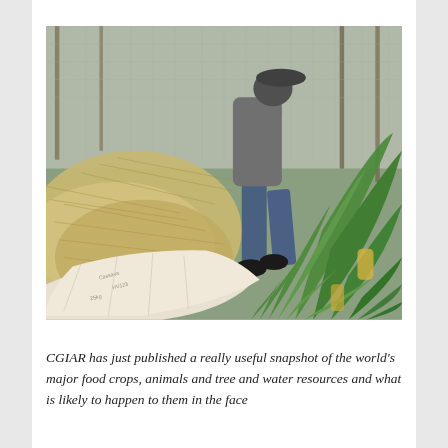[Figure (photo): A person in jeans and a grey top handling large green leafy plants (maize/corn plants) in a farm or livestock enclosure setting. There is dry hay/straw on the left, a wire fence in the background, and a white sack with printed text in the foreground lower left.]
CGIAR has just published a really useful snapshot of the world's major food crops, animals and tree and water resources and what is likely to happen to them in the face